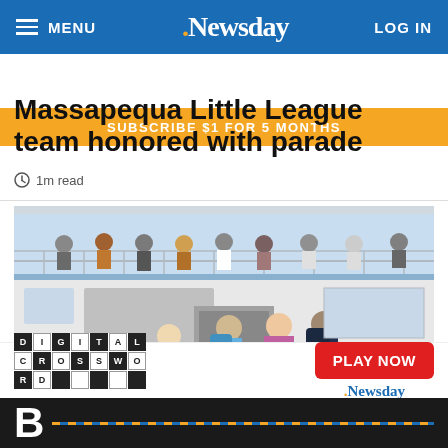MENU | Newsday | LOG IN
SUBSCRIBE $1 FOR 5 MONTHS
Massapequa Little League team honored with parade
1m read
[Figure (photo): People boarding a ferry boat; passengers with backpacks and beach chairs are walking up the gangway; people visible on the upper deck of the white ferry.]
DIGITAL CROSSWORD — PLAY NOW — Newsday
B…